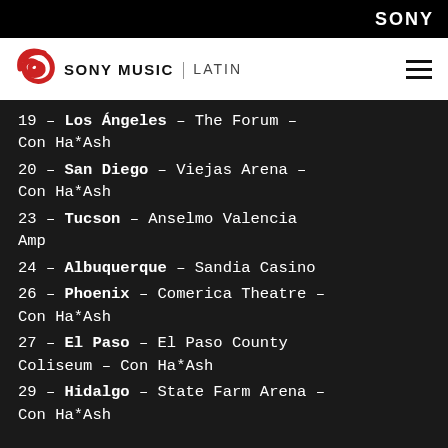SONY
[Figure (logo): Sony Music Latin logo with red swirl icon]
19 - Los Ángeles - The Forum - Con Ha*Ash
20 - San Diego - Viejas Arena - Con Ha*Ash
23 - Tucson - Anselmo Valencia Amp
24 - Albuquerque - Sandia Casino
26 - Phoenix - Comerica Theatre - Con Ha*Ash
27 - El Paso - El Paso County Coliseum - Con Ha*Ash
29 - Hidalgo - State Farm Arena - Con Ha*Ash